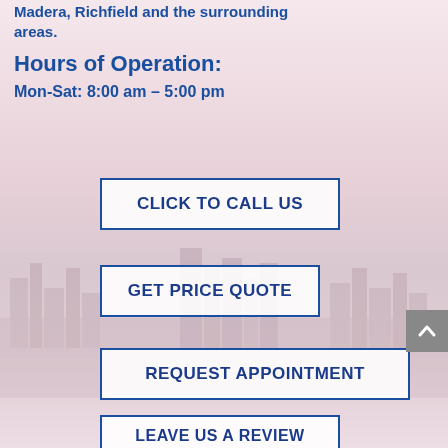Madera, Richfield and the surrounding areas.
Hours of Operation:
Mon-Sat: 8:00 am – 5:00 pm
CLICK TO CALL US
GET PRICE QUOTE
REQUEST APPOINTMENT
LEAVE US A REVIEW